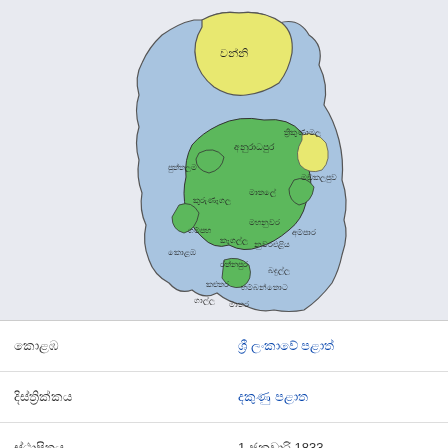[Figure (map): Map of Sri Lanka showing administrative districts colored in yellow (northern Vanni region), green (central/highland districts), and blue (coastal/lowland districts). Districts are labeled in Sinhala script. Colors represent different administrative or historical groupings.]
| කොළඹ | ශ්‍රී ලංකාවේ පළාත් |
| දිස්ත්‍රික්කය | දකුණු පළාත |
| ස්ථාපිතය | 1 ජනවාරි 1833 |